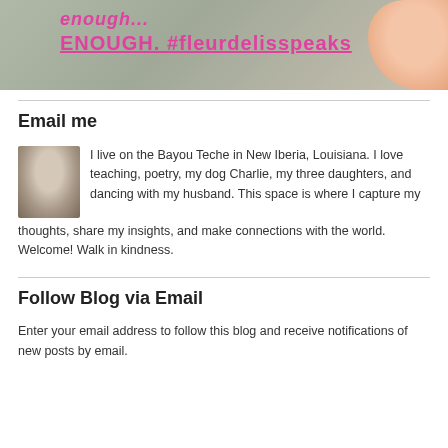[Figure (photo): Photo of a hand holding a white piece of paper with pink handwritten text reading 'enough...' and 'ENOUGH. #fleurdelisspeaks']
Email me
[Figure (photo): Small portrait photo of a gray-haired woman]
I live on the Bayou Teche in New Iberia, Louisiana. I love teaching, poetry, my dog Charlie, my three daughters, and dancing with my husband. This space is where I capture my thoughts, share my insights, and make connections with the world. Welcome! Walk in kindness.
Follow Blog via Email
Enter your email address to follow this blog and receive notifications of new posts by email.